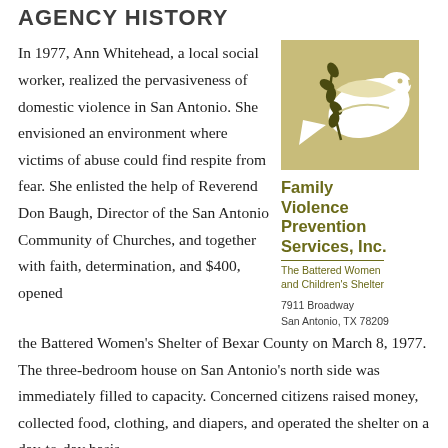Agency History
In 1977, Ann Whitehead, a local social worker, realized the pervasiveness of domestic violence in San Antonio. She envisioned an environment where victims of abuse could find respite from fear. She enlisted the help of Reverend Don Baugh, Director of the San Antonio Community of Churches, and together with faith, determination, and $400, opened the Battered Women's Shelter of Bexar County on March 8, 1977. The three-bedroom house on San Antonio's north side was immediately filled to capacity. Concerned citizens raised money, collected food, clothing, and diapers, and operated the shelter on a day-to-day basis for the first year. And need for a shelter to still...
[Figure (logo): Family Violence Prevention Services, Inc. logo — white dove with olive branch on tan/gold square background]
Family Violence Prevention Services, Inc.
The Battered Women and Children's Shelter
7911 Broadway
San Antonio, TX 78209